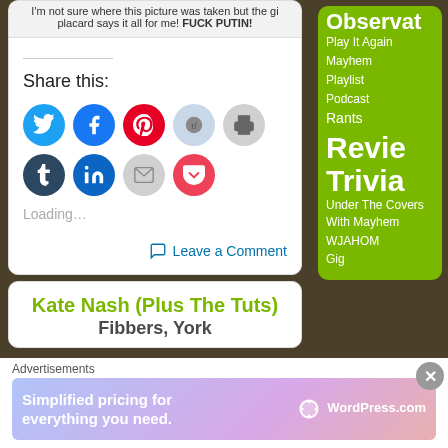I'm not sure where this picture was taken but the gi placard says it all for me! FUCK PUTIN!
Share this:
[Figure (infographic): Social sharing buttons: Twitter, Facebook, Pinterest, Reddit, Print, Tumblr, LinkedIn, Email, Pocket]
Loading...
Leave a Comment
Kate Nash (Plus The Tuts) Fibbers, York
Observat
Play It Again
Mayhem
Playlist
Podcast
Rants
Revie
Trivia
Under The Covers With Mayhem
WJAHOM
Gig
Advertisements
Simplified pricing for everything you need. WordPress.com